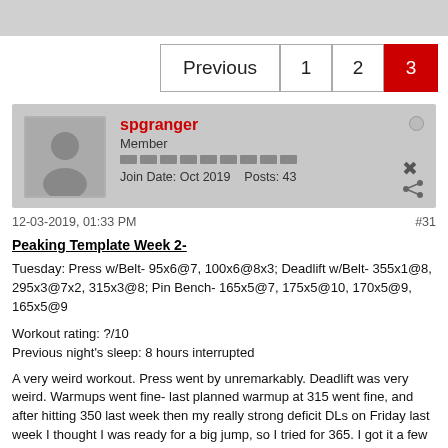[Figure (screenshot): Gray header bar at top of forum page]
Previous 1 2 3
spgranger
Member
Join Date: Oct 2019  Posts: 43
12-03-2019, 01:33 PM  #31
Peaking Template Week 2-
Tuesday: Press w/Belt- 95x6@7, 100x6@8x3; Deadlift w/Belt- 355x1@8, 295x3@7x2, 315x3@8; Pin Bench- 165x5@7, 175x5@10, 170x5@9, 165x5@9
Workout rating: ?/10
Previous night's sleep: 8 hours interrupted
A very weird workout. Press went by unremarkably. Deadlift was very weird. Warmups went fine- last planned warmup at 315 went fine, and after hitting 350 last week then my really strong deficit DLs on Friday last week I thought I was ready for a big jump, so I tried for 365. I got it a few inches off the ground, but it wouldn't go further, so I dropped it down to 350 and missed